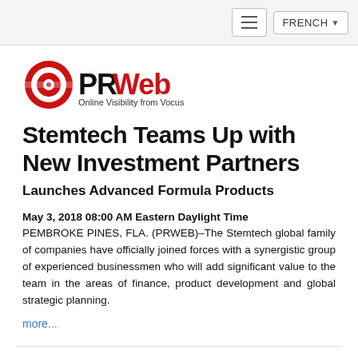FRENCH ▾
[Figure (logo): PRWeb logo — red target/bullseye icon with PRWeb text, tagline: Online Visibility from Vocus]
Stemtech Teams Up with New Investment Partners
Launches Advanced Formula Products
May 3, 2018 08:00 AM Eastern Daylight Time
PEMBROKE PINES, FLA. (PRWEB)–The Stemtech global family of companies have officially joined forces with a synergistic group of experienced businessmen who will add significant value to the team in the areas of finance, product development and global strategic planning.
more...